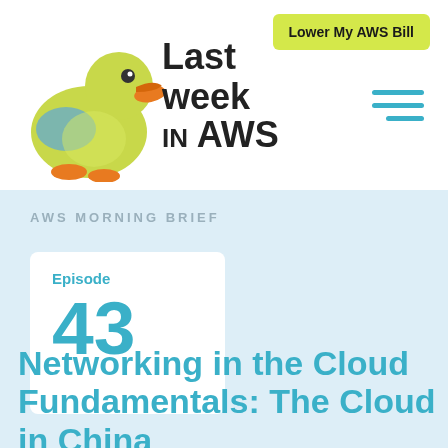[Figure (logo): Last Week in AWS logo with duck mascot character and bold text reading 'Last week in AWS']
Lower My AWS Bill
AWS MORNING BRIEF
Episode 43
Networking in the Cloud Fundamentals: The Cloud in China